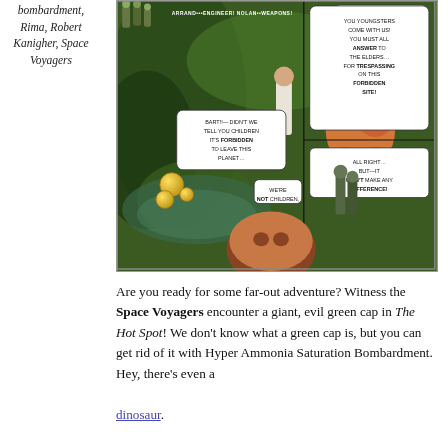bombardment, Rima, Robert Kanigher, Space Voyagers
[Figure (illustration): Comic book panel showing Space Voyagers characters in a jungle scene with a dinosaur, speech bubbles, and characters confronting each other on a forbidden planet.]
Are you ready for some far-out adventure? Witness the Space Voyagers encounter a giant, evil green cap in The Hot Spot! We don't know what a green cap is, but you can get rid of it with Hyper Ammonia Saturation Bombardment. Hey, there's even a dinosaur.